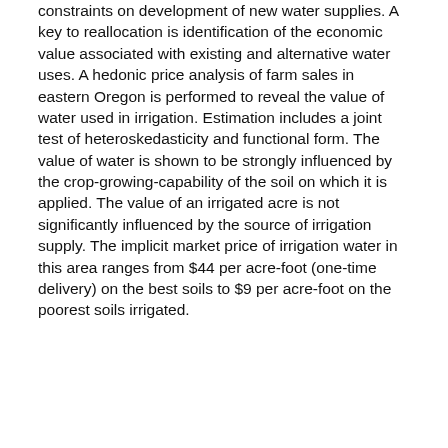constraints on development of new water supplies. A key to reallocation is identification of the economic value associated with existing and alternative water uses. A hedonic price analysis of farm sales in eastern Oregon is performed to reveal the value of water used in irrigation. Estimation includes a joint test of heteroskedasticity and functional form. The value of water is shown to be strongly influenced by the crop-growing-capability of the soil on which it is applied. The value of an irrigated acre is not significantly influenced by the source of irrigation supply. The implicit market price of irrigation water in this area ranges from $44 per acre-foot (one-time delivery) on the best soils to $9 per acre-foot on the poorest soils irrigated.